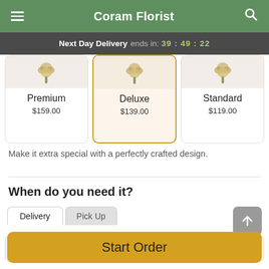Coram Florist
Next Day Delivery ends in: 39:49:22
[Figure (screenshot): Three product option cards: Premium $159.00, Deluxe $139.00 (selected, highlighted), Standard $119.00]
Make it extra special with a perfectly crafted design.
When do you need it?
Delivery | Pick Up tabs
Today | Sun | Mon (selected) | View More Dates
Start Order